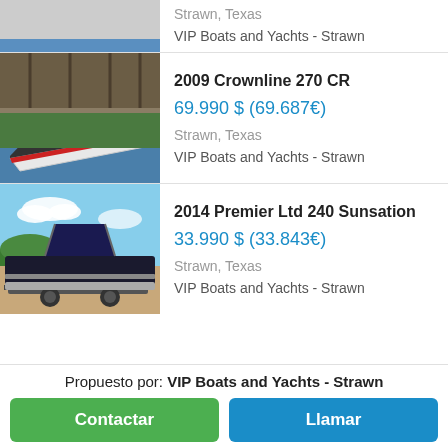[Figure (photo): Partial boat listing image at top — water/blue background]
Strawn, Texas
VIP Boats and Yachts - Strawn
[Figure (photo): 2009 Crownline 270 CR boat image — white and red boat in marina]
2009 Crownline 270 CR
69.990 $ (69.687€)
Strawn, Texas
VIP Boats and Yachts - Strawn
[Figure (photo): 2014 Premier Ltd 240 Sunsation pontoon boat image — black boat on trailer]
2014 Premier Ltd 240 Sunsation
33.990 $ (33.843€)
Strawn, Texas
VIP Boats and Yachts - Strawn
Propuesto por: VIP Boats and Yachts - Strawn